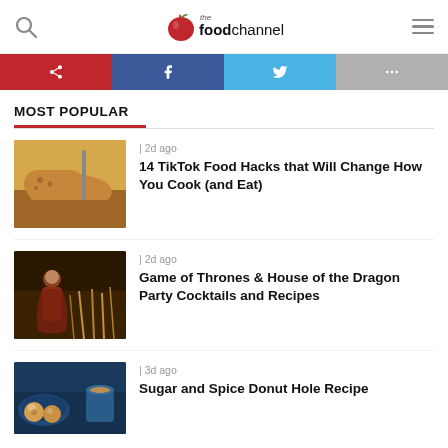the food channel
[Figure (screenshot): Social share buttons: red (shares), Facebook blue, Twitter blue, gray (more)]
MOST POPULAR
[Figure (photo): Sliced bread on a wooden cutting board]
| 2d ago
14 TikTok Food Hacks that Will Change How You Cook (and Eat)
[Figure (photo): Dark fantasy figure in wheat field, Game of Thrones themed]
| 2d ago
Game of Thrones & House of the Dragon Party Cocktails and Recipes
[Figure (photo): Sugar and spice donut holes on a blue plate]
| 3d ago
Sugar and Spice Donut Hole Recipe